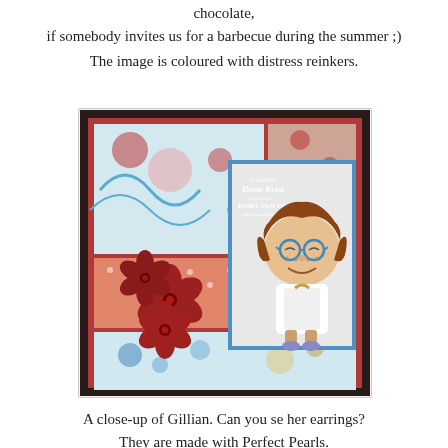chocolate, if somebody invites us for a barbecue during the summer ;)
The image is coloured with distress reinkers.
[Figure (photo): A handmade greeting card featuring a stamped girl character (Gillian) with glasses and freckles wearing an apron, coloured with distress reinkers, surrounded by decorative patterned paper in red and blue tones, with red paper flowers embellishments. A watermark reads 'Created by Dorte Kvist for Fairy Fun Fridays at http://dorte4911.blogspot.com']
A close-up of Gillian. Can you se her earrings? They are made with Perfect Pearls.